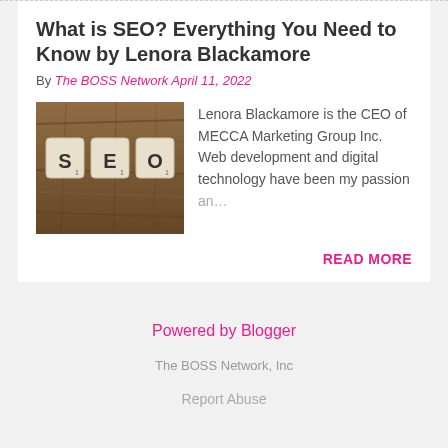What is SEO? Everything You Need to Know by Lenora Blackamore
By The BOSS Network April 11, 2022
[Figure (photo): Photo of Scrabble tiles spelling SEO on a wooden surface]
Lenora Blackamore is the CEO of MECCA Marketing Group Inc. Web development and digital technology have been my passion an… READ MORE
Powered by Blogger
The BOSS Network, Inc
Report Abuse